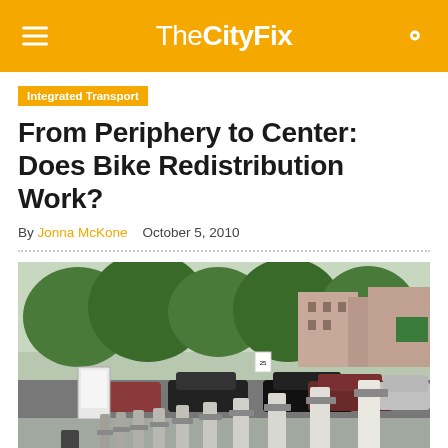TheCityFix
Integrated Transport
From Periphery to Center: Does Bike Redistribution Work?
By Jonna McKone   October 5, 2010
[Figure (photo): A row of bike share docking stations on a city sidewalk, with parked cars and residential buildings in the background. Trees line the street.]